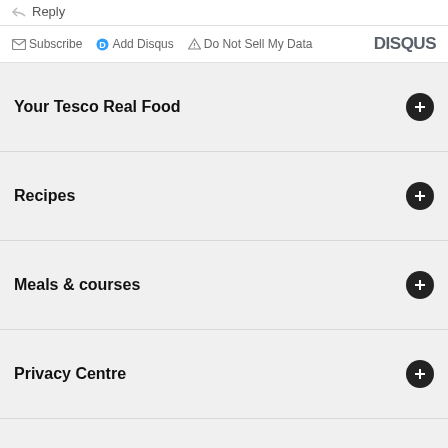Reply
Subscribe  Add Disqus  Do Not Sell My Data   DISQUS
Your Tesco Real Food
Recipes
Meals & courses
Privacy Centre
Useful links
Follow us:
[Figure (infographic): Social media icons: Facebook (blue circle), Twitter (light blue circle), YouTube (red circle), Pinterest (dark red circle), Instagram (teal circle)]